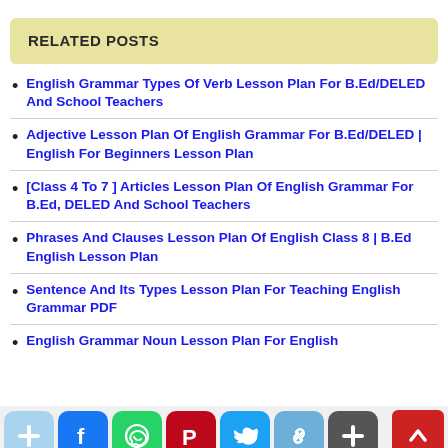RELATED POSTS
English Grammar Types Of Verb Lesson Plan For B.Ed/DELED And School Teachers
Adjective Lesson Plan Of English Grammar For B.Ed/DELED | English For Beginners Lesson Plan
[Class 4 To 7 ] Articles Lesson Plan Of English Grammar For B.Ed, DELED And School Teachers
Phrases And Clauses Lesson Plan Of English Class 8 | B.Ed English Lesson Plan
Sentence And Its Types Lesson Plan For Teaching English Grammar PDF
English Grammar Noun Lesson Plan For English…